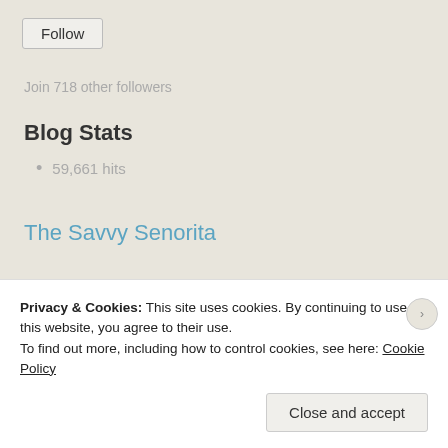Follow
Join 718 other followers
Blog Stats
59,661 hits
The Savvy Senorita
The Savvy Senorita
[Figure (photo): Dark photo strip thumbnail]
Privacy & Cookies: This site uses cookies. By continuing to use this website, you agree to their use. To find out more, including how to control cookies, see here: Cookie Policy
Close and accept